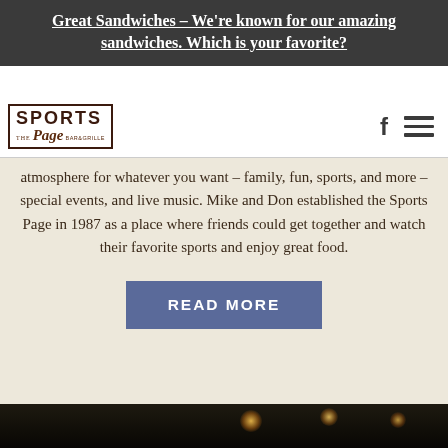Great Sandwiches - We're known for our amazing sandwiches. Which is your favorite?
[Figure (logo): Sports Page Bar & Grill logo with bold text SPORTS over cursive Page and small tagline]
atmosphere for whatever you want – family, fun, sports, and more – special events, and live music. Mike and Don established the Sports Page in 1987 as a place where friends could get together and watch their favorite sports and enjoy great food.
READ MORE
[Figure (photo): Dim interior restaurant/bar photo showing warm string lights and patrons in dark ambiance]